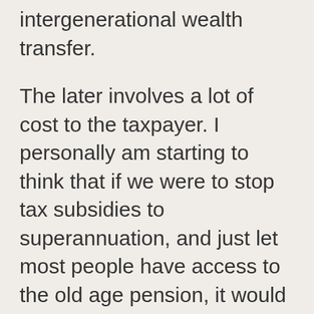intergenerational wealth transfer.
The later involves a lot of cost to the taxpayer. I personally am starting to think that if we were to stop tax subsidies to superannuation, and just let most people have access to the old age pension, it would be cheaper to the tax payer.
Which means that the original